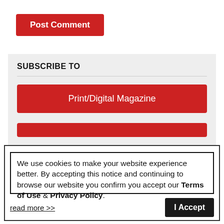Post Comment
SUBSCRIBE TO
Print/Digital Magazine
We use cookies to make your website experience better. By accepting this notice and continuing to browse our website you confirm you accept our Terms of Use & Privacy Policy.
read more >>
I Accept